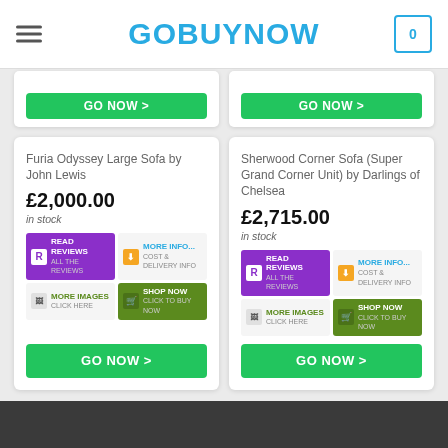GOBUYNOW
[Figure (screenshot): Partial product card with GO NOW > button (top left)]
[Figure (screenshot): Partial product card with GO NOW > button (top right)]
Furia Odyssey Large Sofa by John Lewis
£2,000.00
in stock
[Figure (screenshot): Action buttons: Read Reviews, More Info, More Images, Shop Now]
GO NOW >
Sherwood Corner Sofa (Super Grand Corner Unit) by Darlings of Chelsea
£2,715.00
in stock
[Figure (screenshot): Action buttons: Read Reviews, More Info, More Images, Shop Now]
GO NOW >